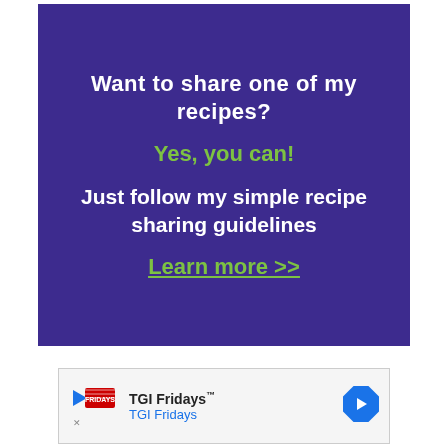Want to share one of my recipes?
Yes, you can!
Just follow my simple recipe sharing guidelines
Learn more >>
[Figure (other): TGI Fridays advertisement banner with logo, text 'TGI Fridays™ TGI Fridays', and a navigation arrow icon]